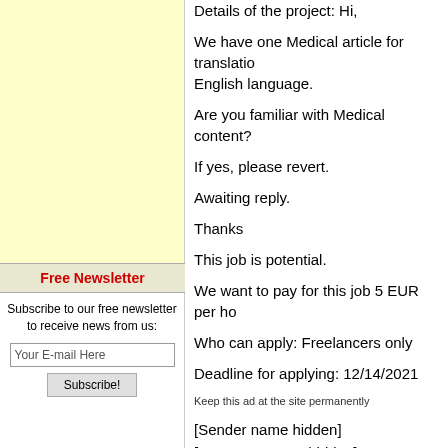[Figure (other): Yellow/cream colored advertisement box on left column]
Free Newsletter
Subscribe to our free newsletter to receive news from us:
Your E-mail Here
Subscribe!
Details of the project: Hi,
We have one Medical article for translation English language.
Are you familiar with Medical content?
If yes, please revert.
Awaiting reply.
Thanks
This job is potential.
We want to pay for this job 5 EUR per ho
Who can apply: Freelancers only
Deadline for applying: 12/14/2021
Keep this ad at the site permanently
[Sender name hidden]
[Company name hidden]
India
[Website address hidden]
IP: 103.215.55.237 (N/A)
* * * * * * * * * * * * * * * * * *
Posted on Monday, 13 Dec 2021, 06:34:5